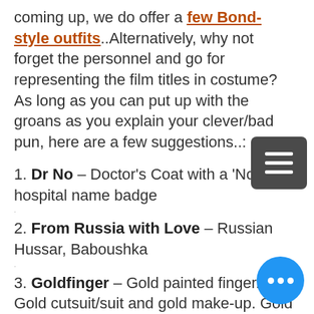coming up, we do offer a few Bond-style outfits..Alternatively, why not forget the personnel and go for representing the film titles in costume? As long as you can put up with the groans as you explain your clever/bad pun, here are a few suggestions..:
1. Dr No – Doctor's Coat with a 'No' hospital name badge
2. From Russia with Love – Russian Hussar, Baboushka
3. Goldfinger – Gold painted finger. Gold cutsuit/suit and gold make-up. Gold painted girl.
4. Thunderball – Giant Lottery Ball ticket.